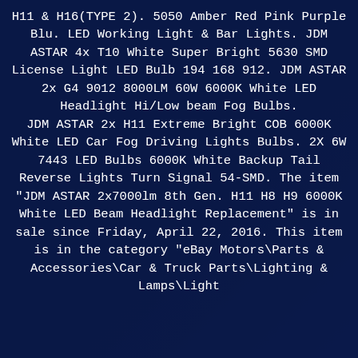H11 & H16(TYPE 2). 5050 Amber Red Pink Purple Blu. LED Working Light & Bar Lights. JDM ASTAR 4x T10 White Super Bright 5630 SMD License Light LED Bulb 194 168 912. JDM ASTAR 2x G4 9012 8000LM 60W 6000K White LED Headlight Hi/Low beam Fog Bulbs.
JDM ASTAR 2x H11 Extreme Bright COB 6000K White LED Car Fog Driving Lights Bulbs. 2X 6W 7443 LED Bulbs 6000K White Backup Tail Reverse Lights Turn Signal 54-SMD. The item "JDM ASTAR 2x7000lm 8th Gen. H11 H8 H9 6000K White LED Beam Headlight Replacement" is in sale since Friday, April 22, 2016. This item is in the category "eBay Motors\Parts & Accessories\Car & Truck Parts\Lighting & Lamps\Light